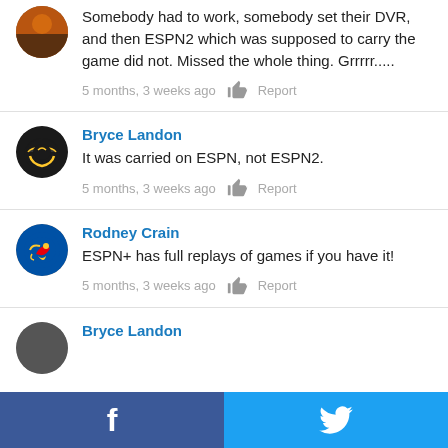Somebody had to work, somebody set their DVR, and then ESPN2 which was supposed to carry the game did not. Missed the whole thing. Grrrrr.....
5 months, 3 weeks ago   Report
Bryce Landon
It was carried on ESPN, not ESPN2.
5 months, 3 weeks ago   Report
Rodney Crain
ESPN+ has full replays of games if you have it!
5 months, 3 weeks ago   Report
Bryce Landon